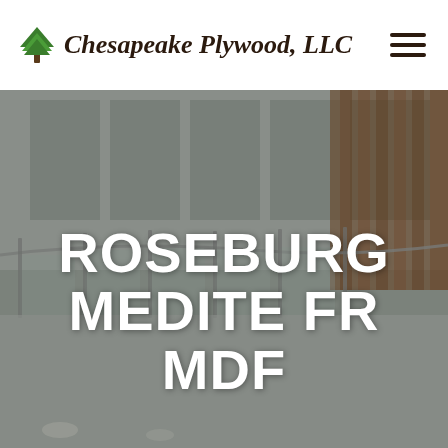Chesapeake Plywood, LLC
[Figure (photo): Interior architectural photo showing a multi-story building atrium with glass panel railings, metal handrails, and wood-paneled walls. The image is dimmed/overlaid to serve as a background for the hero text.]
ROSEBURG MEDITE FR MDF